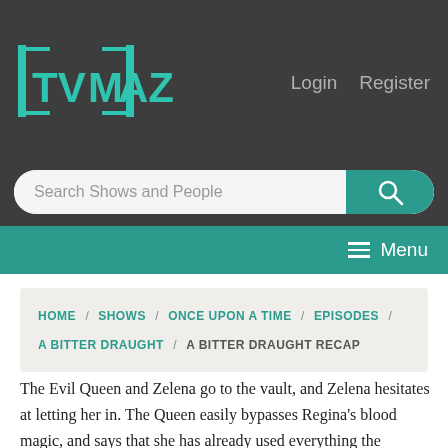TVMaze | Login | Register
Search Shows and People
Menu
HOME / SHOWS / ONCE UPON A TIME / EPISODES / A BITTER DRAUGHT / A BITTER DRAUGHT RECAP
The Evil Queen and Zelena go to the vault, and Zelena hesitates at letting her in. The Queen easily bypasses Regina's blood magic, and says that she has already used everything the Dragon had to get to Storybrooke. Now she needs the magic in the vault to bolster her abilities. She says that she's going to use the magic in the vault to teach Regina a lesson, not hurt her.